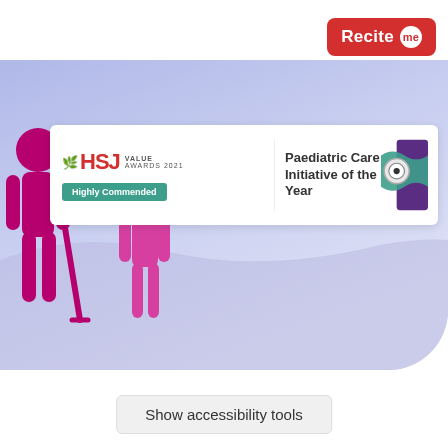[Figure (logo): Recite Me button - red rounded rectangle with 'Recite' in white and 'me' in a white speech bubble circle]
[Figure (illustration): Hero banner with lavender/purple gradient background showing silhouettes of two figures (adult and child) in magenta/pink, a wave shape at the bottom]
[Figure (infographic): HSJ Value Awards 2021 badge - white rectangle showing HSJ logo in red with leaf icon, 'VALUE AWARDS 2021' text, 'Highly Commended' in teal/green bar, and 'Paediatric Care Initiative of the Year' text with decorative teal/purple graphic on right]
Show accessibility tools